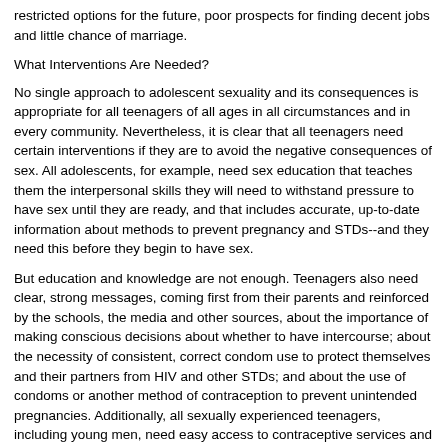restricted options for the future, poor prospects for finding decent jobs and little chance of marriage.
What Interventions Are Needed?
No single approach to adolescent sexuality and its consequences is appropriate for all teenagers of all ages in all circumstances and in every community. Nevertheless, it is clear that all teenagers need certain interventions if they are to avoid the negative consequences of sex. All adolescents, for example, need sex education that teaches them the interpersonal skills they will need to withstand pressure to have sex until they are ready, and that includes accurate, up-to-date information about methods to prevent pregnancy and STDs--and they need this before they begin to have sex.
But education and knowledge are not enough. Teenagers also need clear, strong messages, coming first from their parents and reinforced by the schools, the media and other sources, about the importance of making conscious decisions about whether to have intercourse; about the necessity of consistent, correct condom use to protect themselves and their partners from HIV and other STDs; and about the use of condoms or another method of contraception to prevent unintended pregnancies. Additionally, all sexually experienced teenagers, including young men, need easy access to contraceptive services and STD screening and treatment. The network of freestanding, publicly supported family planning clinics that is a major provider of confidential family planning and STD services for teenagers, especially young women, has been weakened in recent years by serious underfunding. Moreover, its future is uncertain in the face of health care reform efforts. Teenagers' access to these confidential services must be maintained and expanded, whether through